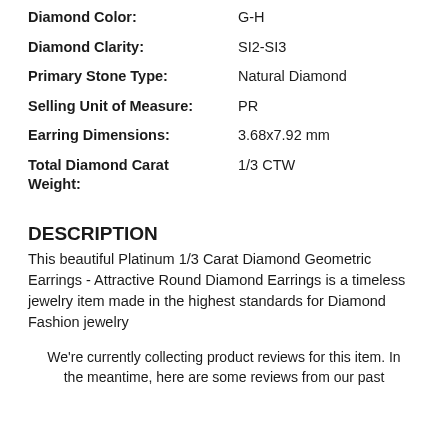Diamond Color: G-H
Diamond Clarity: SI2-SI3
Primary Stone Type: Natural Diamond
Selling Unit of Measure: PR
Earring Dimensions: 3.68x7.92 mm
Total Diamond Carat Weight: 1/3 CTW
DESCRIPTION
This beautiful Platinum 1/3 Carat Diamond Geometric Earrings - Attractive Round Diamond Earrings is a timeless jewelry item made in the highest standards for Diamond Fashion jewelry
We're currently collecting product reviews for this item. In the meantime, here are some reviews from our past